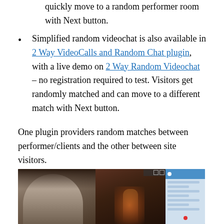quickly move to a random performer room with Next button.
Simplified random videochat is also available in 2 Way VideoCalls and Random Chat plugin, with a live demo on 2 Way Random Videochat – no registration required to test. Visitors get randomly matched and can move to a different match with Next button.
One plugin providers random matches between performer/clients and the other between site visitors.
[Figure (screenshot): Screenshot showing a two-way video chat interface with a woman's face on the left panel, a darkened room with a figure in the middle panel, and a chat/control panel on the right with blue header, text lines, and a red button.]